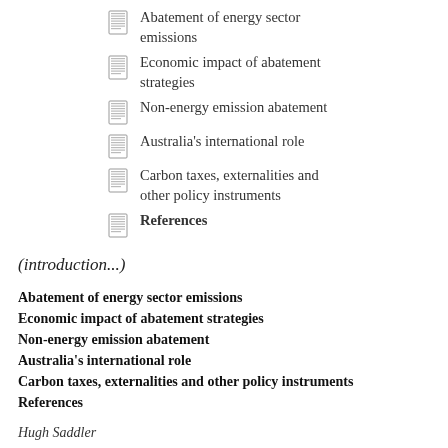Abatement of energy sector emissions
Economic impact of abatement strategies
Non-energy emission abatement
Australia's international role
Carbon taxes, externalities and other policy instruments
References
(introduction...)
Abatement of energy sector emissions
Economic impact of abatement strategies
Non-energy emission abatement
Australia's international role
Carbon taxes, externalities and other policy instruments
References
Hugh Saddler
Greenhouse gas emissions have been at the